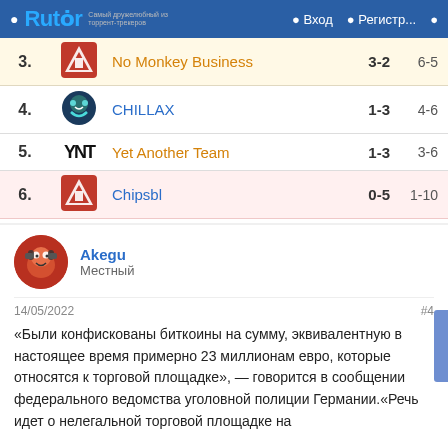Rutor | Вход | Регистр...
| # | Logo | Team | W-L | Map |
| --- | --- | --- | --- | --- |
| 3. |  | No Monkey Business | 3-2 | 6-5 |
| 4. |  | CHILLAX | 1-3 | 4-6 |
| 5. |  | Yet Another Team | 1-3 | 3-6 |
| 6. |  | Chipsbl | 0-5 | 1-10 |
[Figure (illustration): User avatar for Akegu — cartoon character with headphones]
Akegu
Местный
14/05/2022
#4
«Были конфискованы биткоины на сумму, эквивалентную в настоящее время примерно 23 миллионам евро, которые относятся к торговой площадке», — говорится в сообщении федерального ведомства уголовной полиции Германии.«Речь идет о нелегальной торговой площадке на